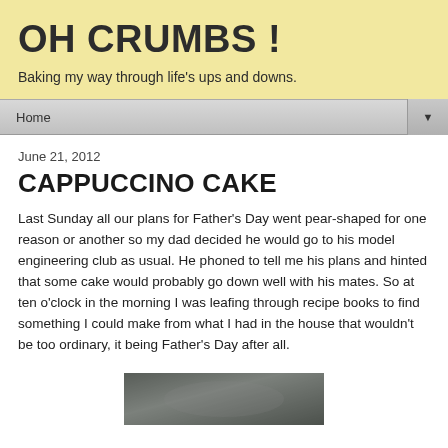OH CRUMBS !
Baking my way through life's ups and downs.
Home ▼
June 21, 2012
CAPPUCCINO CAKE
Last Sunday all our plans for Father's Day went pear-shaped for one reason or another so my dad decided he would go to his model engineering club as usual.  He phoned to tell me his plans and hinted that some cake would probably go down well with his mates.  So at ten o'clock in the morning I was leafing through recipe books to find something I could make from what I had in the house that wouldn't be too ordinary, it being Father's Day after all.
[Figure (photo): Partial view of a cappuccino cake photo at the bottom of the page]